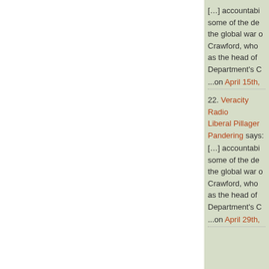[…] accountabi… some of the de… the global war … Crawford, who … as the head of … Department's C…
...on April 15th,
22. Veracity Radio Liberal Pillager Pandering says:
[…] accountabi… some of the de… the global war … Crawford, who … as the head of … Department's C…
...on April 29th,